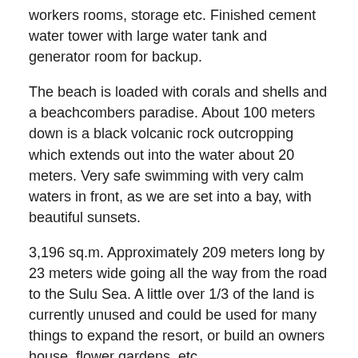workers rooms, storage etc. Finished cement water tower with large water tank and generator room for backup.
The beach is loaded with corals and shells and a beachcombers paradise. About 100 meters down is a black volcanic rock outcropping which extends out into the water about 20 meters. Very safe swimming with very calm waters in front, as we are set into a bay, with beautiful sunsets.
3,196 sq.m. Approximately 209 meters long by 23 meters wide going all the way from the road to the Sulu Sea. A little over 1/3 of the land is currently unused and could be used for many things to expand the resort, or build an owners house, flower gardens, etc.
Resort is located about 15-20 minutes from Sindangan, Zamboanga del Norte. Sindangan is about 1 1/2 hours